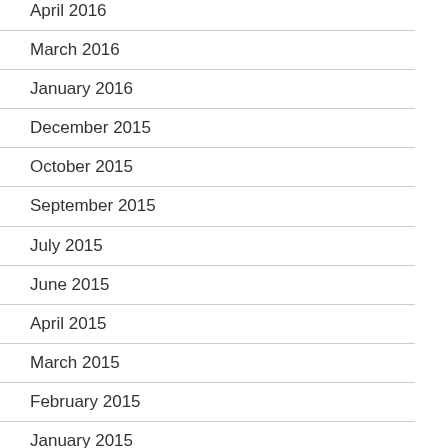April 2016
March 2016
January 2016
December 2015
October 2015
September 2015
July 2015
June 2015
April 2015
March 2015
February 2015
January 2015